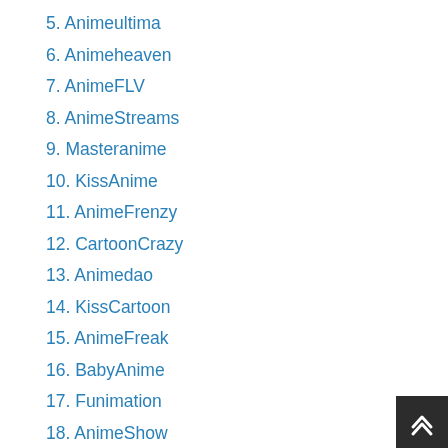5. Animeultima
6. Animeheaven
7. AnimeFLV
8. AnimeStreams
9. Masteranime
10. KissAnime
11. AnimeFrenzy
12. CartoonCrazy
13. Animedao
14. KissCartoon
15. AnimeFreak
16. BabyAnime
17. Funimation
18. AnimeShow
19. OtakuStream
20. Anime Karma
21. Hulu